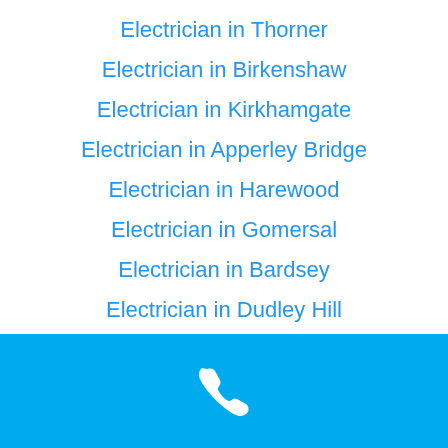Electrician in Thorner
Electrician in Birkenshaw
Electrician in Kirkhamgate
Electrician in Apperley Bridge
Electrician in Harewood
Electrician in Gomersal
Electrician in Bardsey
Electrician in Dudley Hill
Electrician in Methley
[Figure (illustration): Blue footer bar with white phone handset icon]